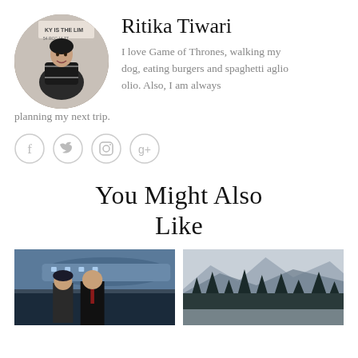[Figure (photo): Circular avatar photo of Ritika Tiwari, a woman wearing a black and white checkered scarf, standing outdoors with aircraft/vehicles in background]
Ritika Tiwari
I love Game of Thrones, walking my dog, eating burgers and spaghetti aglio olio. Also, I am always planning my next trip.
[Figure (illustration): Social media icons in circles: Facebook (f), Twitter (bird), Instagram (camera), Google+ (g+)]
You Might Also Like
[Figure (photo): Two people (a man and a woman) standing in front of an airplane, appears to be House of Cards show still]
[Figure (photo): Misty, wintry landscape with dark trees and mountains in fog]